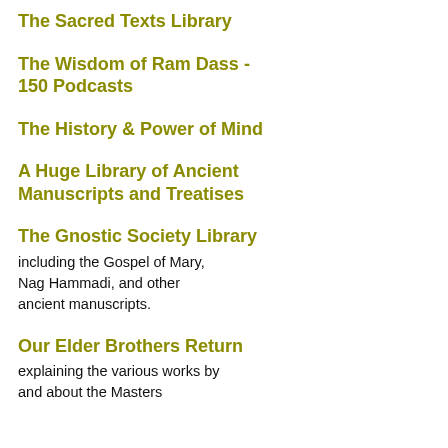The Sacred Texts Library
The Wisdom of Ram Dass - 150 Podcasts
The History & Power of Mind
A Huge Library of Ancient Manuscripts and Treatises
The Gnostic Society Library including the Gospel of Mary, Nag Hammadi, and other ancient manuscripts.
Our Elder Brothers Return explaining the various works by and about the Masters
It see tha we are all con imp dec and cho It als see tha rela on eve lev are in dyn shi and ma